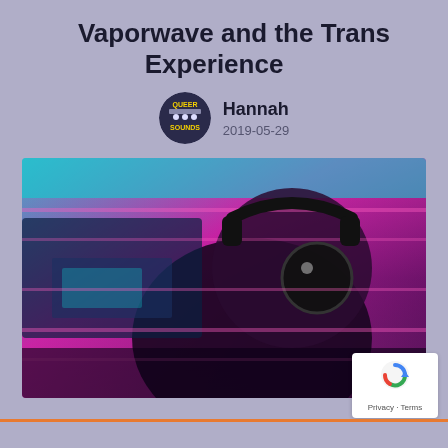Vaporwave and the Trans Experience
Hannah
2019-05-29
[Figure (photo): Vaporwave-styled photo of a person wearing round sunglasses and headphones, with pink and cyan color grading and glitch/scan line effects, shot from a low angle.]
[Figure (logo): Google reCAPTCHA badge with Privacy and Terms links]